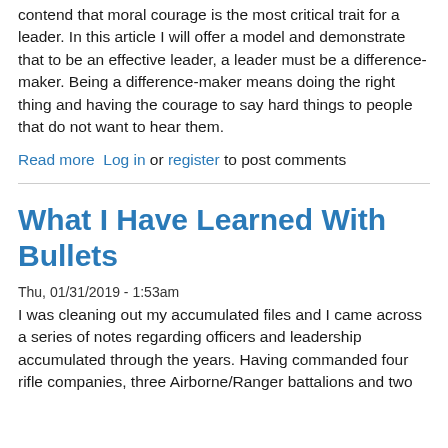contend that moral courage is the most critical trait for a leader. In this article I will offer a model and demonstrate that to be an effective leader, a leader must be a difference-maker. Being a difference-maker means doing the right thing and having the courage to say hard things to people that do not want to hear them.
Read more  Log in or register to post comments
What I Have Learned With Bullets
Thu, 01/31/2019 - 1:53am
I was cleaning out my accumulated files and I came across a series of notes regarding officers and leadership accumulated through the years. Having commanded four rifle companies, three Airborne/Ranger battalions and two